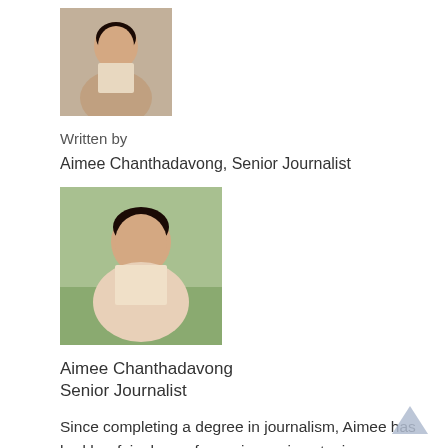[Figure (photo): Small headshot photo of Aimee Chanthadavong]
Written by
Aimee Chanthadavong, Senior Journalist
[Figure (photo): Larger photo of Aimee Chanthadavong outdoors smiling]
Aimee Chanthadavong
Senior Journalist
Since completing a degree in journalism, Aimee has had her fair share of covering various topics, including business, retail, manufacturing, and travel. She continues to expand her repertoire as a tech journalist with ZDNet.
Full Bio